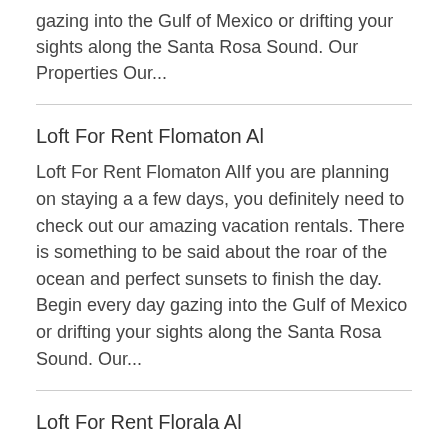gazing into the Gulf of Mexico or drifting your sights along the Santa Rosa Sound. Our Properties Our...
Loft For Rent Flomaton Al
Loft For Rent Flomaton AlIf you are planning on staying a a few days, you definitely need to check out our amazing vacation rentals. There is something to be said about the roar of the ocean and perfect sunsets to finish the day. Begin every day gazing into the Gulf of Mexico or drifting your sights along the Santa Rosa Sound. Our...
Loft For Rent Florala Al
Loft For Rent Florala AlIf you're interested in staying a while, you should definitely check out...